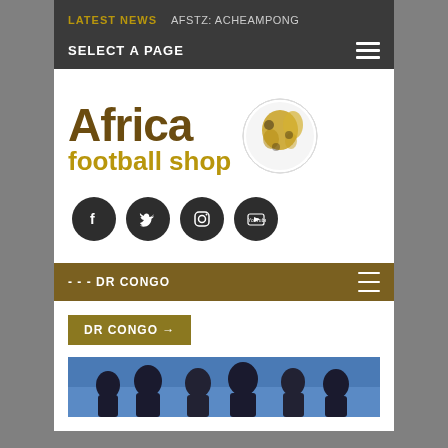LATEST NEWS   AFSTZ: ACHEAMPONG
SELECT A PAGE
[Figure (logo): Africa Football Shop logo with football globe icon and social media icons (Facebook, Twitter, Instagram, YouTube)]
- - - DR CONGO
DR CONGO →
[Figure (photo): Photo of football players on a pitch]